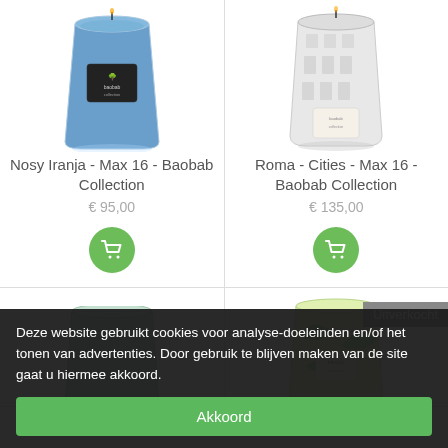[Figure (photo): Blue candle in glass with Baobab Collection label, Nosy Iranja product]
Nosy Iranja - Max 16 - Baobab Collection
€ 95,00
[Figure (photo): Transparent/crystal glass candle with architectural design, Roma Cities product]
Roma - Cities - Max 16 - Baobab Collection
€ 135,00
[Figure (photo): Partial view of bottom-left candle product]
[Figure (photo): Tropical green/yellow patterned candle with palm leaf design, Uitverkocht badge]
Uitverkocht
Deze website gebruikt cookies voor analyse-doeleinden en/of het tonen van advertenties. Door gebruik te blijven maken van de site gaat u hiermee akkoord.
Akkoord